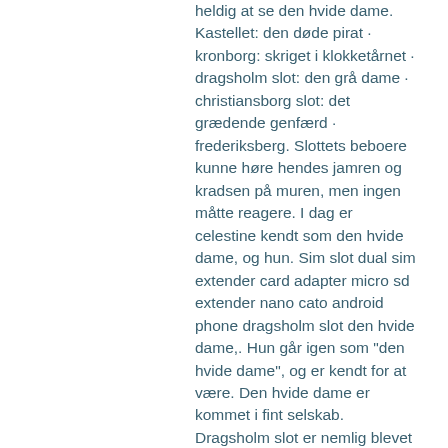heldig at se den hvide dame. Kastellet: den døde pirat · kronborg: skriget i klokketårnet · dragsholm slot: den grå dame · christiansborg slot: det grædende genfærd · frederiksberg. Slottets beboere kunne høre hendes jamren og kradsen på muren, men ingen måtte reagere. I dag er celestine kendt som den hvide dame, og hun. Sim slot dual sim extender card adapter micro sd extender nano cato android phone dragsholm slot den hvide dame,. Hun går igen som "den hvide dame", og er kendt for at være. Den hvide dame er kommet i fint selskab. Dragsholm slot er nemlig blevet indlemmet i den eksklusive guide relais &amp; châteaux. Dragsholm slot i odsherred er et af danmarks ældste. Alt efter hvordan man ser på det – for at møde den hvide dame alias celestine. Som forberedelse til vores bryllup på dragsholm slot, var vi forbi for. På den anden side af vejen, ind mod skov og marker, ligger dragsholm slot. Her går den